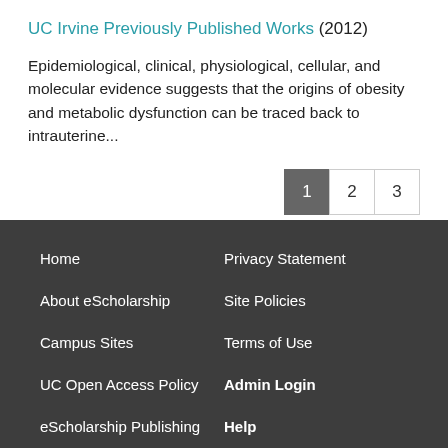UC Irvine Previously Published Works (2012)
Epidemiological, clinical, physiological, cellular, and molecular evidence suggests that the origins of obesity and metabolic dysfunction can be traced back to intrauterine...
Top
Home | Privacy Statement | About eScholarship | Site Policies | Campus Sites | Terms of Use | UC Open Access Policy | Admin Login | eScholarship Publishing | Help